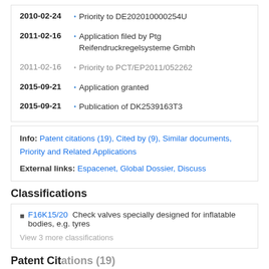2010-02-24 • Priority to DE202010000254U
2011-02-16 • Application filed by Ptg Reifendruckregelsysteme Gmbh
2011-02-16 • Priority to PCT/EP2011/052262
2015-09-21 • Application granted
2015-09-21 • Publication of DK2539163T3
Info: Patent citations (19), Cited by (9), Similar documents, Priority and Related Applications
External links: Espacenet, Global Dossier, Discuss
Classifications
F16K15/20 Check valves specially designed for inflatable bodies, e.g. tyres
View 3 more classifications
Patent Citations (19)